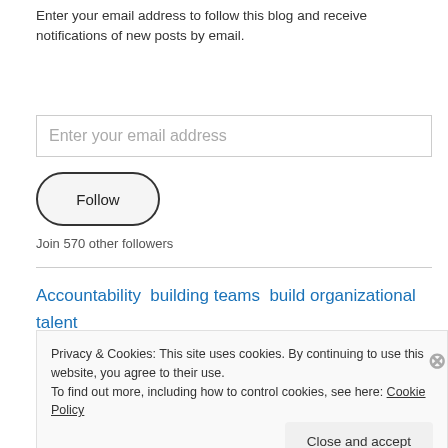Enter your email address to follow this blog and receive notifications of new posts by email.
Enter your email address
Follow
Join 570 other followers
Accountability  building teams  build organizational talent  change and transition  common good
Privacy & Cookies: This site uses cookies. By continuing to use this website, you agree to their use.
To find out more, including how to control cookies, see here: Cookie Policy
Close and accept